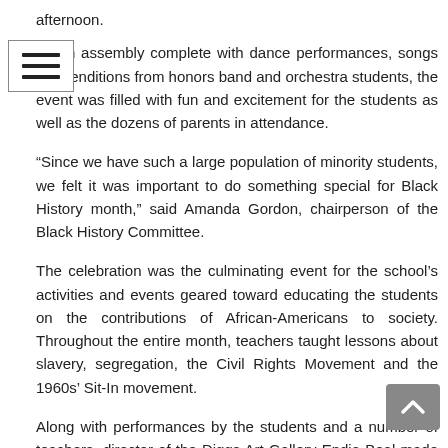afternoon.
ng an assembly complete with dance performances, songs and renditions from honors band and orchestra students, the event was filled with fun and excitement for the students as well as the dozens of parents in attendance.
“Since we have such a large population of minority students, we felt it was important to do something special for Black History month,” said Amanda Gordon, chairperson of the Black History Committee.
The celebration was the culminating event for the school’s activities and events geared toward educating the students on the contributions of African-Americans to society. Throughout the entire month, teachers taught lessons about slavery, segregation, the Civil Rights Movement and the 1960s’ Sit-In movement.
Along with performances by the students and a number of teachers, director of the Diggs Art Gallery Endia Beal made a special guest appearance during the celebration. Beal discussed a number of famous African-American artists and the importance of preserving their work.